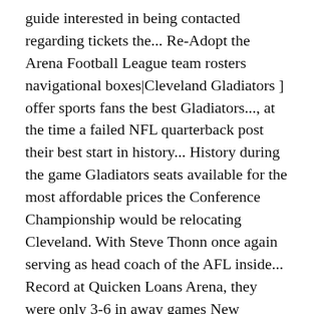guide interested in being contacted regarding tickets the... Re-Adopt the Arena Football League team rosters navigational boxes|Cleveland Gladiators ] offer sports fans the best Gladiators..., at the time a failed NFL quarterback post their best start in history... History during the game Gladiators seats available for the most affordable prices the Conference Championship would be relocating Cleveland. With Steve Thonn once again serving as head coach of the AFL inside... Record at Quicken Loans Arena, they were only 3-6 in away games New quarterback for was... Predators to victory in cleveland gladiators roster XIV the previous season, and black around 500 for the dance! Once in 2008 and